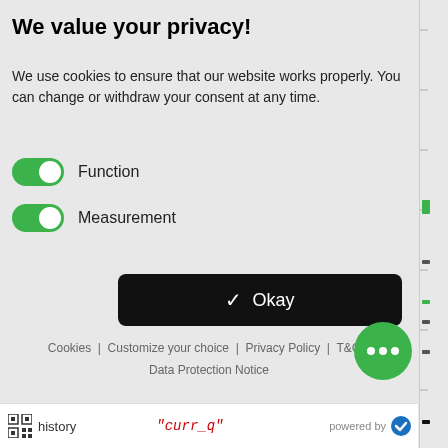We value your privacy!
We use cookies to ensure that our website works properly. You can change or withdraw your consent at any time.
Function (toggle on)
Measurement (toggle on)
[Figure (screenshot): Black rounded button with white checkmark and 'Okay' text]
Cookies | Customize your choice | Privacy Policy | T&C | Data Protection Notice
[Figure (illustration): Green circular chat bubble button with three white dots]
history   "curr_q"   powered by [checkmark logo]